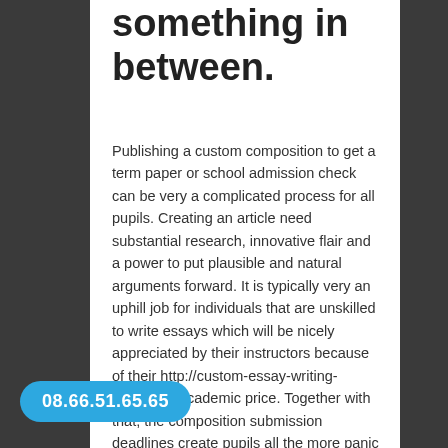something in between.
Publishing a custom composition to get a term paper or school admission check can be very a complicated process for all pupils. Creating an article need substantial research, innovative flair and a power to put plausible and natural arguments forward. It is typically very an uphill job for individuals that are unskilled to write essays which will be nicely appreciated by their instructors because of their http://custom-essay-writing-help.com/ academic price. Together with that, the composition submission deadlines create pupils all the more panic stricken and they fail to do justice for their composition writing capabilities. Should you be one of those learners that are bothered by his turn out quality custom you definitely will not need
08.66.51.65.65